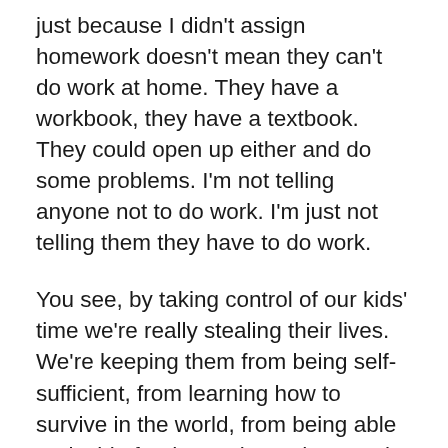just because I didn't assign homework doesn't mean they can't do work at home. They have a workbook, they have a textbook. They could open up either and do some problems. I'm not telling anyone not to do work. I'm just not telling them they have to do work.
You see, by taking control of our kids' time we're really stealing their lives. We're keeping them from being self-sufficient, from learning how to survive in the world, from being able to decide for themselves what needs to be done and what is worth doing.
Is tonight's homework worth doing? Are you going to get something out of it? Is it going to enrich your education or better you as a person? Is there something more worthwhile you could be doing with your time? If there is, do it. Then tomorrow explain to your teacher